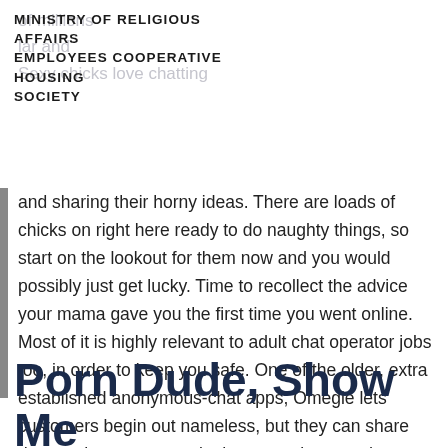MINISTRY OF RELIGIOUS AFFAIRS EMPLOYEES COOPERATIVE HOUSING SOCIETY
and sharing their horny ideas. There are loads of chicks on right here ready to do naughty things, so start on the lookout for them now and you would possibly just get lucky. Time to recollect the advice your mama gave you the first time you went online. Most of it is highly relevant to adult chat operator jobs too, in order to keep you safe. One of the older, extra established anonymous-chat apps, Omegle lets customers begin out nameless, but they can share data such as names, telephone numbers, and addresses.
Porn Dude, Show Me Free Adult Chat Rooms